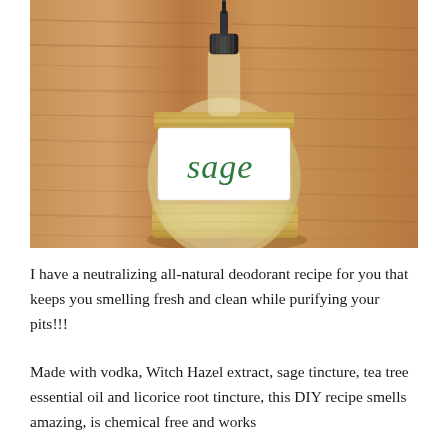[Figure (photo): A round glass bottle with a dropper cap, labeled 'sage' in green script handwriting, sitting on a wooden surface. The bottle contains a clear/pale liquid and has a bamboo-style band around it.]
I have a neutralizing all-natural deodorant recipe for you that keeps you smelling fresh and clean while purifying your pits!!!
Made with vodka, Witch Hazel extract, sage tincture, tea tree essential oil and licorice root tincture, this DIY recipe smells amazing, is chemical free and works